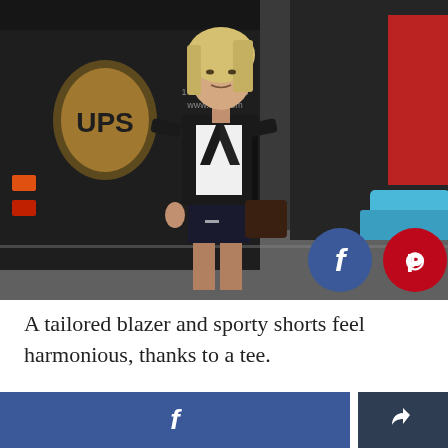[Figure (photo): Street style photo of a blonde woman wearing a black tailored blazer, white tee, and black sporty shorts, standing in front of a UPS delivery truck on a city street. Facebook and Pinterest share buttons visible in the lower right of the photo.]
A tailored blazer and sporty shorts feel harmonious, thanks to a tee.
Facebook share button and general share button bar at page bottom